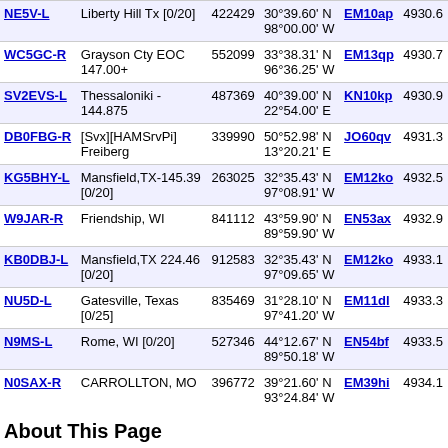| Callsign | Location | Node | Coordinates | Grid | Freq |
| --- | --- | --- | --- | --- | --- |
| NE5V-L | Liberty Hill Tx [0/20] | 422429 | 30°39.60' N 98°00.00' W | EM10ap | 4930.6 |
| WC5GC-R | Grayson Cty EOC 147.00+ | 552099 | 33°38.31' N 96°36.25' W | EM13qp | 4930.7 |
| SV2EVS-L | Thessaloniki - 144.875 | 487369 | 40°39.00' N 22°54.00' E | KN10kp | 4930.9 |
| DB0FBG-R | [Svx][HAMSrvPi] Freiberg | 339990 | 50°52.98' N 13°20.21' E | JO60qv | 4931.3 |
| KG5BHY-L | Mansfield,TX-145.39 [0/20] | 263025 | 32°35.43' N 97°08.91' W | EM12ko | 4932.5 |
| W9JAR-R | Friendship, WI | 841112 | 43°59.90' N 89°59.90' W | EN53ax | 4932.9 |
| KB0DBJ-L | Mansfield,TX 224.46 [0/20] | 912583 | 32°35.43' N 97°09.65' W | EM12ko | 4933.1 |
| NU5D-L | Gatesville, Texas [0/25] | 835469 | 31°28.10' N 97°41.20' W | EM11dl | 4933.3 |
| N9MS-L | Rome, WI [0/20] | 527346 | 44°12.67' N 89°50.18' W | EN54bf | 4933.5 |
| N0SAX-R | CARROLLTON, MO | 396772 | 39°21.60' N 93°24.84' W | EM39hi | 4934.1 |
About This Page
This page is intended to help RF users find EchoLink simplex or repeater link
The table above shows information collected during the past several minutes. The only stations shown are those which have entered location information or